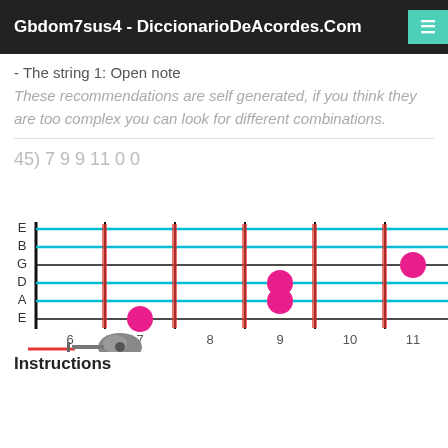Gbdom7sus4 - DiccionarioDeAcordes.Com
- The string 1: Open note
These recommendations are self generated, if you think they are too complex you can look for different combinations.
45) 7 9 9 11 0 0
[Figure (other): Guitar fretboard diagram showing finger positions for Gbdom7sus4 chord. Strings E, B, G, D, A, E are shown horizontally. Fret markers at positions 6, 7, 8, 9, 10, 11. Pink dots indicating finger placements at: E string fret 7, D and A strings fret 9, G string fret 9 (between 9-10), G string fret 11. Blue horizontal lines highlight open/active strings. A guitar icon with a red whammy bar is shown below.]
Instructions